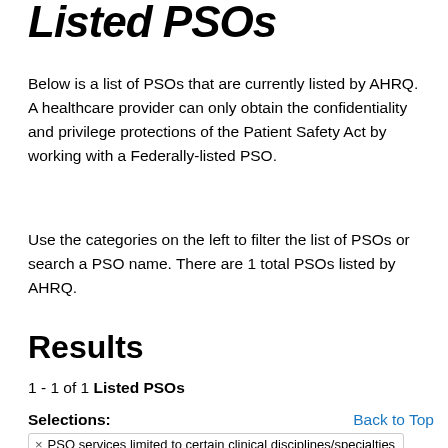Listed PSOs
Below is a list of PSOs that are currently listed by AHRQ. A healthcare provider can only obtain the confidentiality and privilege protections of the Patient Safety Act by working with a Federally-listed PSO.
Use the categories on the left to filter the list of PSOs or search a PSO name. There are 1 total PSOs listed by AHRQ.
Results
1 - 1 of 1 Listed PSOs
Selections:
Back to Top
× PSO services limited to certain clinical disciplines/specialties